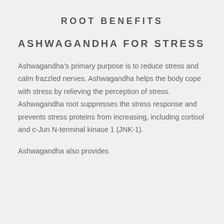ROOT BENEFITS
ASHWAGANDHA FOR STRESS
Ashwagandha’s primary purpose is to reduce stress and calm frazzled nerves. Ashwagandha helps the body cope with stress by relieving the perception of stress. Ashwagandha root suppresses the stress response and prevents stress proteins from increasing, including cortisol and c-Jun N-terminal kinase 1 (JNK-1).
Ashwagandha also provides